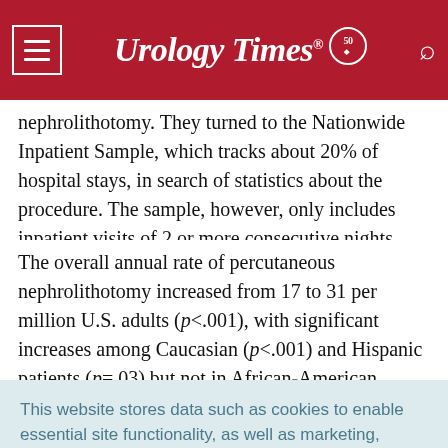Urology Times 50
nephrolithotomy. They turned to the Nationwide Inpatient Sample, which tracks about 20% of hospital stays, in search of statistics about the procedure. The sample, however, only includes inpatient visits of 2 or more consecutive nights.
The overall annual rate of percutaneous nephrolithotomy increased from 17 to 31 per million U.S. adults (p<.001), with significant increases among Caucasian (p<.001) and Hispanic patients (p=.03) but not in African-American patients. Both
This website stores data such as cookies to enable essential site functionality, as well as marketing, personalization, and analytics. Cookie Policy
Accept
Deny